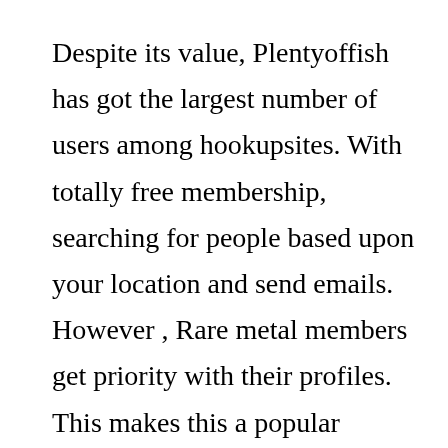Despite its value, Plentyoffish has got the largest number of users among hookupsites. With totally free membership, searching for people based upon your location and send emails. However , Rare metal members get priority with their profiles. This makes this a popular choice concern because it permits them to alter their area easily. Yet , if you're buying serious relationship, you should upgrade to Rare metal membership, as it offers many more premium features.